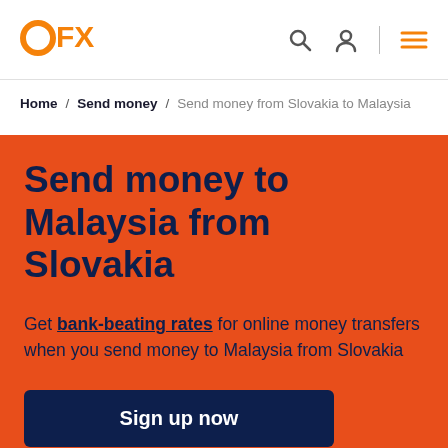OFX
Home / Send money / Send money from Slovakia to Malaysia
Send money to Malaysia from Slovakia
Get bank-beating rates for online money transfers when you send money to Malaysia from Slovakia
Sign up now